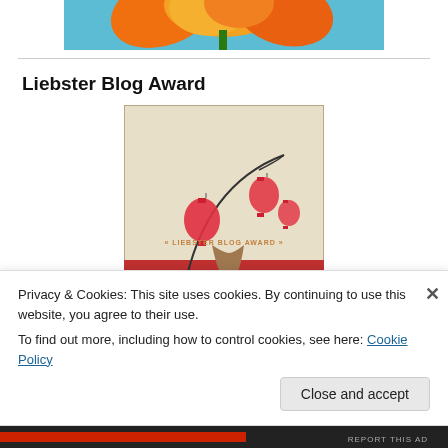[Figure (photo): Top portion of orange flower against blue sky background]
Liebster Blog Award
[Figure (photo): Liebster Blog Award image showing red paper lanterns on curved branch above a vase, with text 'LIEBSTER BLOG AWARD' in the center on a light background]
Privacy & Cookies: This site uses cookies. By continuing to use this website, you agree to their use.
To find out more, including how to control cookies, see here: Cookie Policy